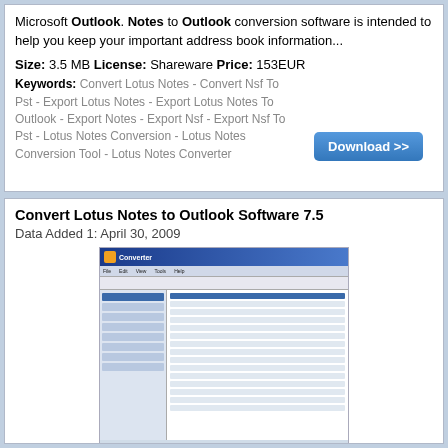Microsoft Outlook. Notes to Outlook conversion software is intended to help you keep your important address book information...
Size: 3.5 MB License: Shareware Price: 153EUR
Keywords: Convert Lotus Notes - Convert Nsf To Pst - Export Lotus Notes - Export Lotus Notes To Outlook - Export Notes - Export Nsf - Export Nsf To Pst - Lotus Notes Conversion - Lotus Notes Conversion Tool - Lotus Notes Converter
[Figure (other): Download button - blue gradient button with '>>' arrow]
Convert Lotus Notes to Outlook Software 7.5
Data Added 1: April 30, 2009
[Figure (screenshot): Screenshot of Convert Lotus Notes to Outlook Software application window showing a spreadsheet-like interface with blue title bar and data grid]
Searching for Email Conversion Tool? Or need to Convert Lotus Notes Domino mailboxes to Outlook? Do not worry. SysTools launches solution of your problem. Use SysTools Convert Lotus Notes to Outlook Conversion Tool to perform Email Conversion quickly in minutes. Convert Lotus Notes Mailboxes to Outlook with SysTools Lotus Notes Conversion tool. Email Conversion is made easy with Export Notes. Software's high performance quality gives you the perfect & excellent solution to convert Lotus...
Size: 3.6 MB License: Shareware Price: 190EUR
Keywords: Convert Lotus Notes To Outlook - Convert Nsf To Pst - Export Lotus Notes To Outlook -